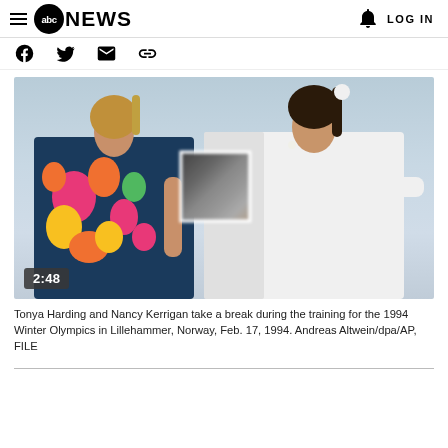ABC NEWS | LOG IN
[Figure (photo): Tonya Harding and Nancy Kerrigan during 1994 Winter Olympics training, with video player overlay showing a blurred/redacted square in the center and a 2:48 timestamp badge in the lower left.]
Tonya Harding and Nancy Kerrigan take a break during the training for the 1994 Winter Olympics in Lillehammer, Norway, Feb. 17, 1994. Andreas Altwein/dpa/AP, FILE